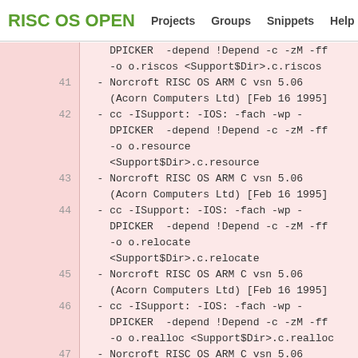RISC OS OPEN  Projects  Groups  Snippets  Help
DPICKER  -depend !Depend -c -zM -ff
    -o o.riscos <Support$Dir>.c.riscos
41  - Norcroft RISC OS ARM C vsn 5.06
    (Acorn Computers Ltd) [Feb 16 1995]
42  - cc -ISupport: -IOS: -fach -wp -
    DPICKER  -depend !Depend -c -zM -ff
    -o o.resource
    <Support$Dir>.c.resource
43  - Norcroft RISC OS ARM C vsn 5.06
    (Acorn Computers Ltd) [Feb 16 1995]
44  - cc -ISupport: -IOS: -fach -wp -
    DPICKER  -depend !Depend -c -zM -ff
    -o o.relocate
    <Support$Dir>.c.relocate
45  - Norcroft RISC OS ARM C vsn 5.06
    (Acorn Computers Ltd) [Feb 16 1995]
46  - cc -ISupport: -IOS: -fach -wp -
    DPICKER  -depend !Depend -c -zM -ff
    -o o.realloc <Support$Dir>.c.realloc
47  - Norcroft RISC OS ARM C vsn 5.06